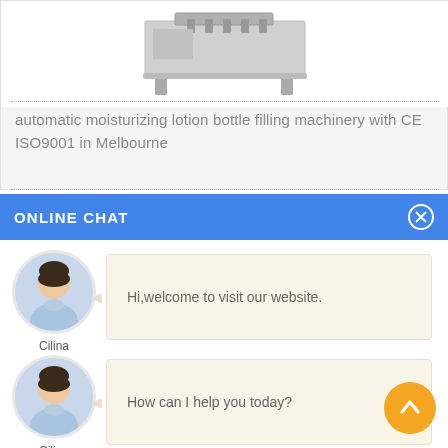[Figure (photo): Top portion of a filling machine product photo, partially visible]
automatic moisturizing lotion bottle filling machinery with CE ISO9001 in Melbourne
ONLINE CHAT
[Figure (photo): Avatar photo of a woman named Cilina in a light blue shirt]
Cilina
Hi,welcome to visit our website.
[Figure (photo): Avatar photo of a woman named Cilina in a light blue shirt]
Cilina
How can I help you today?